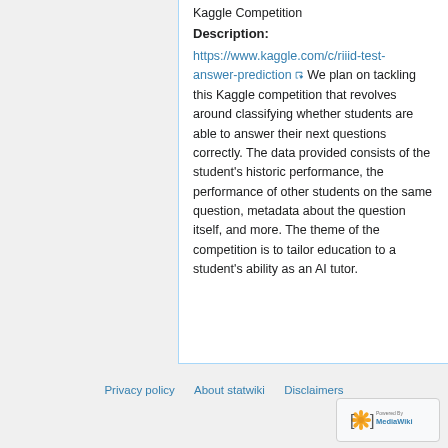Kaggle Competition
Description:
https://www.kaggle.com/c/riiid-test-answer-prediction We plan on tackling this Kaggle competition that revolves around classifying whether students are able to answer their next questions correctly. The data provided consists of the student's historic performance, the performance of other students on the same question, metadata about the question itself, and more. The theme of the competition is to tailor education to a student's ability as an AI tutor.
Privacy policy   About statwiki   Disclaimers